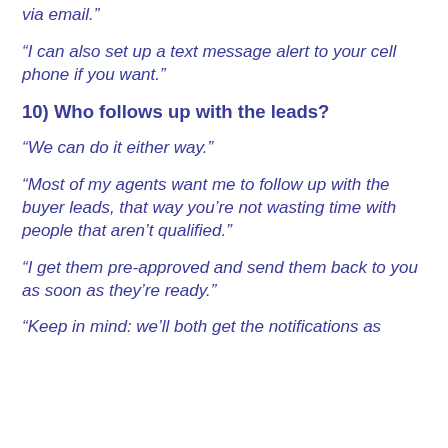“via email.”
“I can also set up a text message alert to your cell phone if you want.”
10) Who follows up with the leads?
“We can do it either way.”
“Most of my agents want me to follow up with the buyer leads, that way you’re not wasting time with people that aren’t qualified.”
“I get them pre-approved and send them back to you as soon as they’re ready.”
“Keep in mind: we’ll both get the notifications as